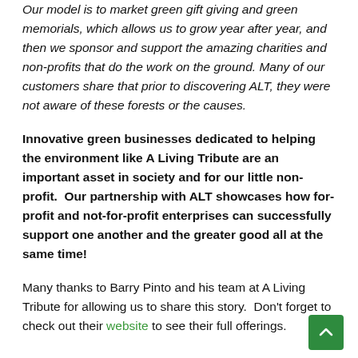Our model is to market green gift giving and green memorials, which allows us to grow year after year, and then we sponsor and support the amazing charities and non-profits that do the work on the ground. Many of our customers share that prior to discovering ALT, they were not aware of these forests or the causes.
Innovative green businesses dedicated to helping the environment like A Living Tribute are an important asset in society and for our little non-profit.  Our partnership with ALT showcases how for-profit and not-for-profit enterprises can successfully support one another and the greater good all at the same time!
Many thanks to Barry Pinto and his team at A Living Tribute for allowing us to share this story.  Don't forget to check out their website to see their full offerings.